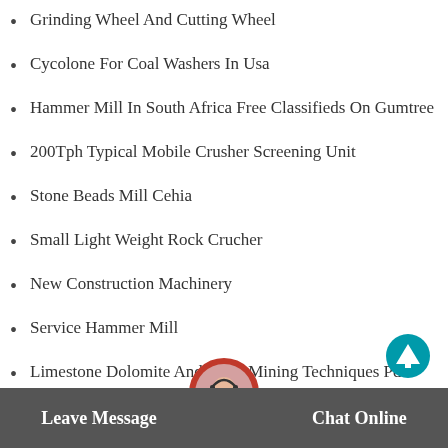Grinding Wheel And Cutting Wheel
Cycolone For Coal Washers In Usa
Hammer Mill In South Africa Free Classifieds On Gumtree
200Tph Typical Mobile Crusher Screening Unit
Stone Beads Mill Cehia
Small Light Weight Rock Crucher
New Construction Machinery
Service Hammer Mill
Limestone Dolomite And More Mining Techniques Pdf
Crushing Zhengzhou Jaw Crusher Invest Benefit
Leave Message   Chat Online